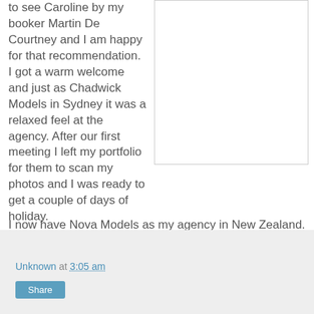to see Caroline by my booker Martin De Courtney and I am happy for that recommendation. I got a warm welcome and just as Chadwick Models in Sydney it was a relaxed feel at the agency. After our first meeting I left my portfolio for them to scan my photos and I was ready to get a couple of days of holiday.
[Figure (other): White box with a border, appears to be an embedded image placeholder]
I now have Nova Models as my agency in New Zealand. I am excited to see what the future got in storage for me in New Zealand.
Unknown at 3:05 am  Share